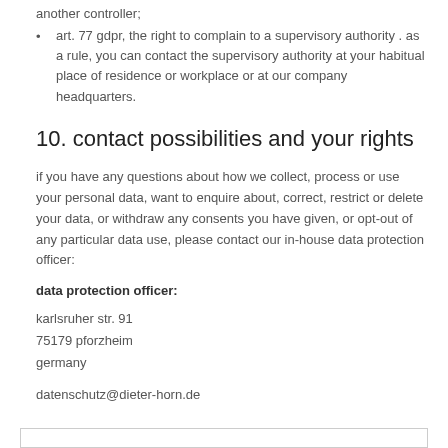another controller;
art. 77 gdpr, the right to complain to a supervisory authority . as a rule, you can contact the supervisory authority at your habitual place of residence or workplace or at our company headquarters.
10. contact possibilities and your rights
if you have any questions about how we collect, process or use your personal data, want to enquire about, correct, restrict or delete your data, or withdraw any consents you have given, or opt-out of any particular data use, please contact our in-house data protection officer:
data protection officer:
karlsruher str. 91
75179 pforzheim
germany
datenschutz@dieter-horn.de